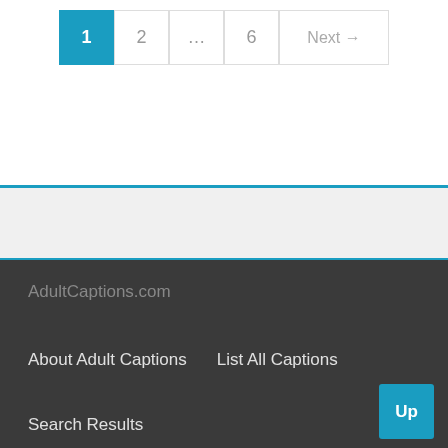Pagination: 1, 2, ..., 6, Next →
AdultCaptions.com
About Adult Captions   List All Captions
Search Results
Up